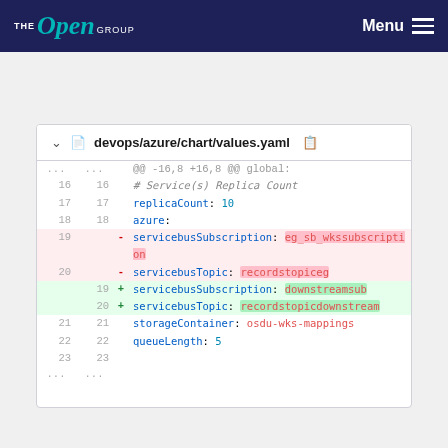The Open Group — Menu
[Figure (screenshot): Git diff view showing devops/azure/chart/values.yaml with changes to servicebusSubscription and servicebusTopic fields. Removed lines show eg_sb_wkssubscription and recordstopiceg; added lines show downstreamsub and recordstopicdownstream.]